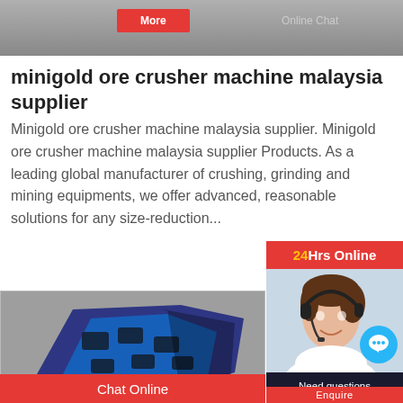[Figure (photo): Top banner image of crushing machinery with More and Online Chat buttons]
minigold ore crusher machine malaysia supplier
Minigold ore crusher machine malaysia supplier. Minigold ore crusher machine malaysia supplier Products. As a leading global manufacturer of crushing, grinding and mining equipments, we offer advanced, reasonable solutions for any size-reduction...
[Figure (photo): Blue and black ore crusher machine close-up photo]
[Figure (photo): 24Hrs Online chat widget with customer service representative photo, Need questions & suggestion? Chat Now button]
Chat Online
Enquire